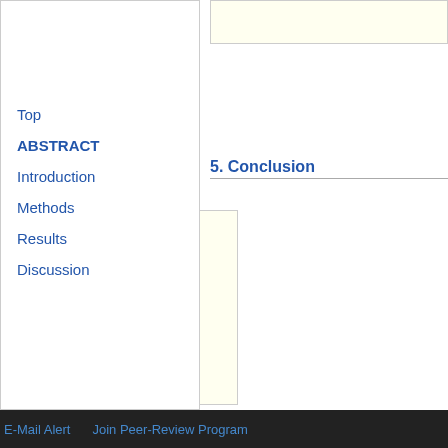[Figure (other): Top beige/cream colored box partially visible at top right]
The antioxidant activity f... antioxidants were more ef...
The AOA for different antio...
5. Conclusion
The AOA for tocotrienols w...
[Figure (bar-chart): Bar chart showing AOA values for different antioxidants across multiple groups. Legend shows 4 series. X-axis shows groups (T1, T2, T3, T4, A, AT, AR or similar). Y-axis shows values from approximately 1.0 to 2.1.]
Top
ABSTRACT
Introduction
Methods
Results
Discussion
E-Mail Alert   Join Peer-Review Program